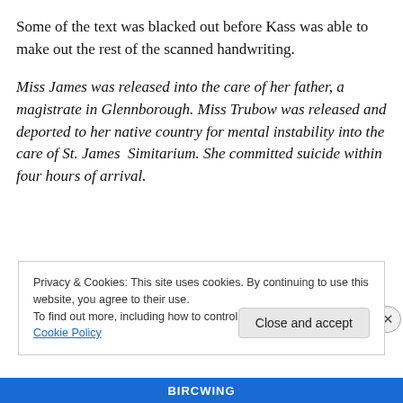Some of the text was blacked out before Kass was able to make out the rest of the scanned handwriting.
Miss James was released into the care of her father, a magistrate in Glennborough. Miss Trubow was released and deported to her native country for mental instability into the care of St. James  Simitarium. She committed suicide within four hours of arrival.
Privacy & Cookies: This site uses cookies. By continuing to use this website, you agree to their use.
To find out more, including how to control cookies, see here: Cookie Policy